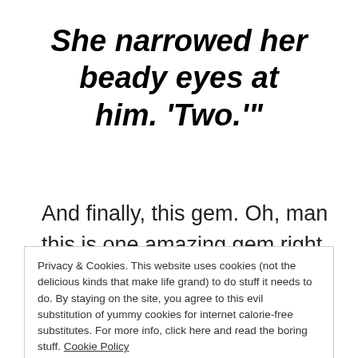She narrowed her beady eyes at him. ‘Two.’”
And finally, this gem. Oh, man this is one amazing gem right here:
[Figure (screenshot): Partially visible italic bold text line, cropped at page edge, beginning with italic characters]
Privacy & Cookies. This website uses cookies (not the delicious kinds that make life grand) to do stuff it needs to do. By staying on the site, you agree to this evil substitution of yummy cookies for internet calorie-free substitutes. For more info, click here and read the boring stuff. Cookie Policy
Close and accept
@suzannewfisher”